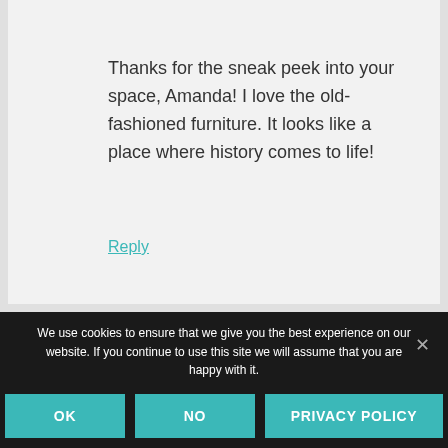Thanks for the sneak peek into your space, Amanda! I love the old-fashioned furniture. It looks like a place where history comes to life!
Reply
We use cookies to ensure that we give you the best experience on our website. If you continue to use this site we will assume that you are happy with it.
OK
NO
PRIVACY POLICY